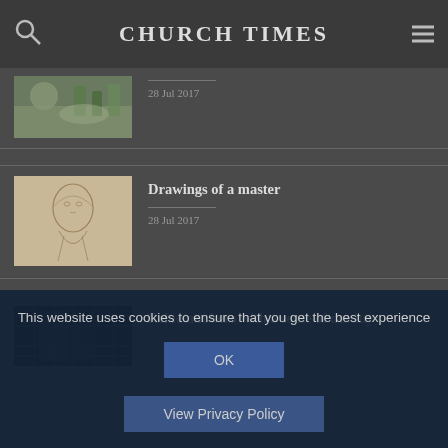CHURCH TIMES
[Figure (photo): Thumbnail image of art supplies or painting activity]
28 Jul 2017
[Figure (illustration): Pencil sketch drawing of a person (portrait/figure)]
Drawings of a master
28 Jul 2017
[Figure (photo): Dark thumbnail image with grid/architectural pattern]
Reluctant hero with a sense of destiny
This website uses cookies to ensure that you get the best experience